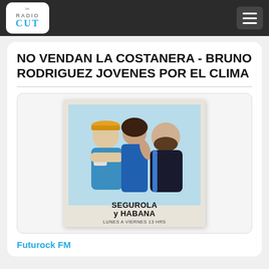[Figure (logo): RadioCut logo in white rounded box on dark navbar]
NO VENDAN LA COSTANERA - BRUNO RODRIGUEZ JOVENES POR EL CLIMA
[Figure (photo): Polaroid-style photo of three people (two men and one woman) posing together. Text on polaroid reads: SEGUROLA y HABANA / Lunes a viernes 13 hrs]
Futurock FM